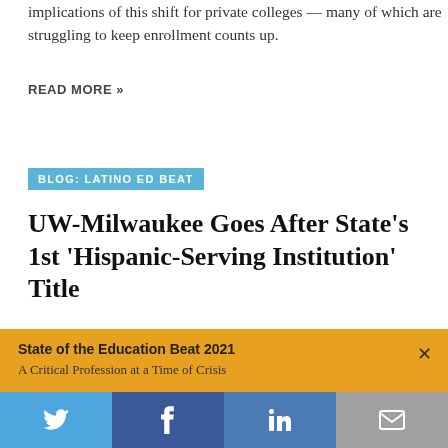implications of this shift for private colleges — many of which are struggling to keep enrollment counts up.
READ MORE »
BLOG: LATINO ED BEAT
UW-Milwaukee Goes After State's 1st 'Hispanic-Serving Institution' Title
OCTOBER 24, 2016  |  NATALIE GROSS
[Figure (photo): Partial view of a building exterior, cropped]
State of the Education Beat 2021
A Critical Profession at a Time of Crisis
[Figure (infographic): Social share bar with Twitter, Facebook, LinkedIn, and Email buttons]